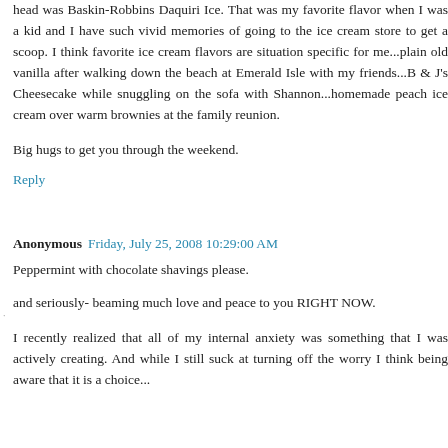head was Baskin-Robbins Daquiri Ice. That was my favorite flavor when I was a kid and I have such vivid memories of going to the ice cream store to get a scoop. I think favorite ice cream flavors are situation specific for me...plain old vanilla after walking down the beach at Emerald Isle with my friends...B & J's Cheesecake while snuggling on the sofa with Shannon...homemade peach ice cream over warm brownies at the family reunion.
Big hugs to get you through the weekend.
Reply
Anonymous  Friday, July 25, 2008 10:29:00 AM
Peppermint with chocolate shavings please.
and seriously- beaming much love and peace to you RIGHT NOW.
I recently realized that all of my internal anxiety was something that I was actively creating. And while I still suck at turning off the worry I think being aware that it is a choice...